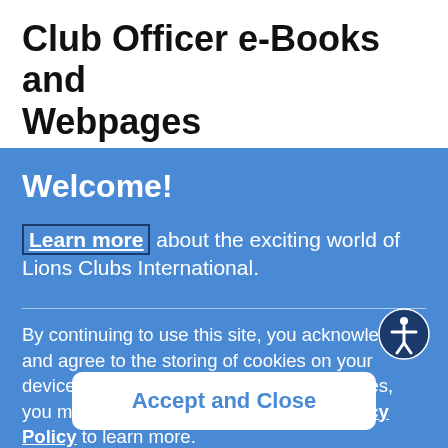Club Officer e-Books and Webpages
Welcome!
Learn more about the exciting world of Lions Clubs International.
By continuing to use this site, you acknowledge and agree to the storing of cookies on your device. If you do not agree to accept cookies, you must not use this site. View our Privacy Policy to learn more.
Accept and Close